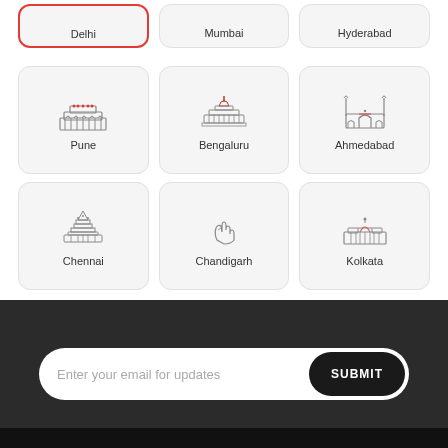[Figure (illustration): City selector grid showing Indian cities. Top partial row: Delhi (selected, red border), Mumbai, Hyderabad. Middle row: Pune, Bengaluru, Ahmedabad. Bottom row: Chennai, Chandigarh, Kolkata. Each card has a landmark icon and city name.]
Enter your email for updates
SUBMIT